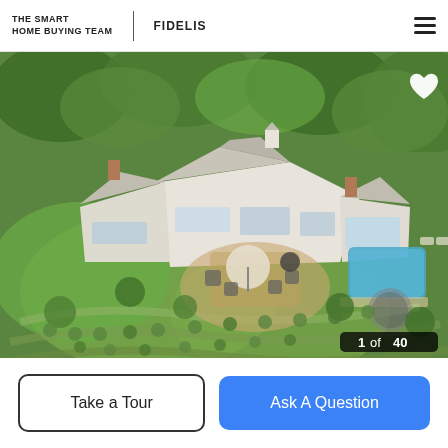THE SMART HOME BUYING TEAM | FIDELIS
[Figure (photo): Aerial drone photo of a large luxury home with white/gray shingle roof, multiple chimneys, surrounded by lush green trees and landscaped lawn with terraced stone walls, outdoor patio furniture, and a swimming pool on the right side. Counter shows 1 of 40.]
Take a Tour
Ask A Question